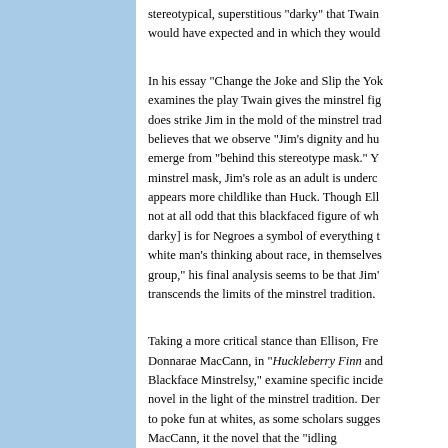stereotypical, superstitious "darky" that Twain would have expected and in which they would
In his essay "Change the Joke and Slip the Yok examines the play Twain gives the minstrel fig does strike Jim in the mold of the minstrel trad believes that we observe "Jim's dignity and hu emerge from "behind this stereotype mask." Y minstrel mask, Jim's role as an adult is underc appears more childlike than Huck. Though Ell not at all odd that this blackfaced figure of wh darky] is for Negroes a symbol of everything t white man's thinking about race, in themselves group," his final analysis seems to be that Jim' transcends the limits of the minstrel tradition.
Taking a more critical stance than Ellison, Fre Donnarae MacCann, in "Huckleberry Finn and Blackface Minstrelsy," examine specific incide novel in the light of the minstrel tradition. Der to poke fun at whites, as some scholars sugges MacCann, it the novel that the "idling...